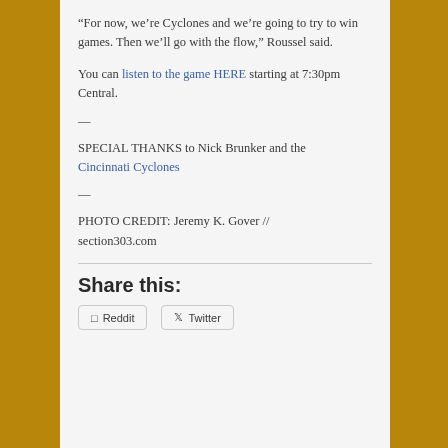“For now, we’re Cyclones and we’re going to try to win games. Then we’ll go with the flow,” Roussel said.
You can listen to the game HERE starting at 7:30pm Central.
—
SPECIAL THANKS to Nick Brunker and the Cincinnati Cyclones
—
PHOTO CREDIT: Jeremy K. Gover // section303.com
Share this: